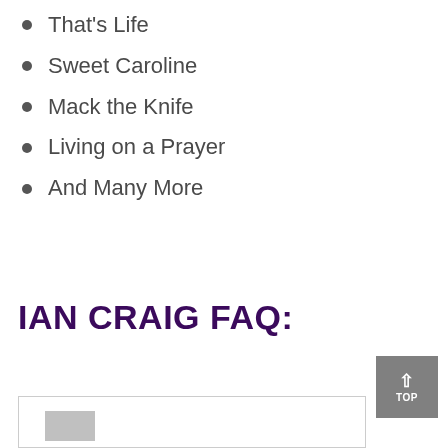That's Life
Sweet Caroline
Mack the Knife
Living on a Prayer
And Many More
IAN CRAIG FAQ: